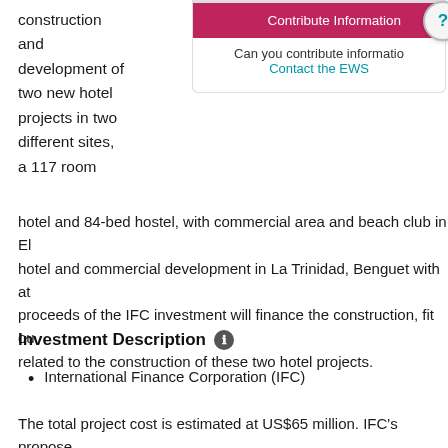construction and development of two new hotel projects in two different sites, a 117 room hotel and 84-bed hostel, with commercial area and beach club in El... hotel and commercial development in La Trinidad, Benguet with at... proceeds of the IFC investment will finance the construction, fit ou... related to the construction of these two hotel projects.
[Figure (other): Contribute Information panel with pink button labeled 'Contribute Information', text 'Can you contribute information?' and a teal 'Contact the EWS' link, with a question mark circle icon overlay.]
Investment Description
International Finance Corporation (IFC)
The total project cost is estimated at US$65 million. IFC's propose... Company consists of convertible preferred shares of up to US$13...